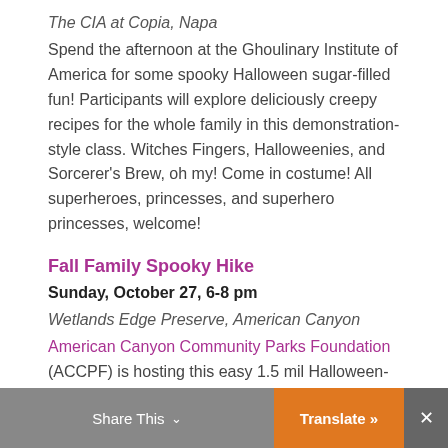The CIA at Copia, Napa
Spend the afternoon at the Ghoulinary Institute of America for some spooky Halloween sugar-filled fun! Participants will explore deliciously creepy recipes for the whole family in this demonstration-style class. Witches Fingers, Halloweenies, and Sorcerer's Brew, oh my! Come in costume! All superheroes, princesses, and superhero princesses, welcome!
Fall Family Spooky Hike
Sunday, October 27, 6-8 pm
Wetlands Edge Preserve, American Canyon
American Canyon Community Parks Foundation (ACCPF) is hosting this easy 1.5 mil Halloween-themed family hike. Participants will venture out on the gravel trail around the retention pond at the Wetlands Edge trailhead of the Napa Bay River Trail. Friends from Napa County Resource Conservation District will be on hand to teach participants about the noc
Share This   Translate »   ✕